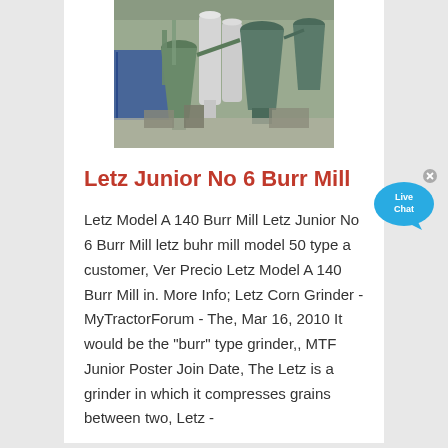[Figure (photo): Industrial grain mill facility with large green conical hopper cyclones and processing equipment inside a warehouse/shed structure]
Letz Junior No 6 Burr Mill
Letz Model A 140 Burr Mill Letz Junior No 6 Burr Mill letz buhr mill model 50 type a customer, Ver Precio Letz Model A 140 Burr Mill in. More Info; Letz Corn Grinder - MyTractorForum - The, Mar 16, 2010 It would be the "burr" type grinder,, MTF Junior Poster Join Date, The Letz is a grinder in which it compresses grains between two, Letz -